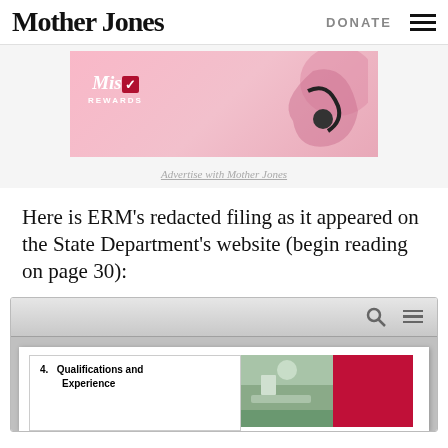Mother Jones | DONATE
[Figure (illustration): Pink advertisement banner for 'Mist Rewards' with decorative graphic]
Advertise with Mother Jones
Here is ERM’s redacted filing as it appeared on the State Department’s website (begin reading on page 30):
[Figure (screenshot): Embedded document viewer showing a page with item '4. Qualifications and Experience' alongside a landscape photo and a red rectangle]